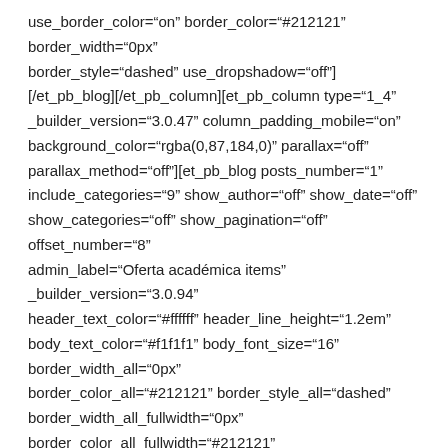use_border_color="on" border_color="#212121" border_width="0px" border_style="dashed" use_dropshadow="off"] [/et_pb_blog][/et_pb_column][et_pb_column type="1_4" _builder_version="3.0.47" column_padding_mobile="on" background_color="rgba(0,87,184,0)" parallax="off" parallax_method="off"][et_pb_blog posts_number="1" include_categories="9" show_author="off" show_date="off" show_categories="off" show_pagination="off" offset_number="8" admin_label="Oferta académica items" _builder_version="3.0.94" header_text_color="#ffffff" header_line_height="1.2em" body_text_color="#f1f1f1" body_font_size="16" border_width_all="0px" border_color_all="#212121" border_style_all="dashed" border_width_all_fullwidth="0px" border_color_all_fullwidth="#212121" border_style_all_fullwidth="dashed" custom_css_main_element="text-align: center;" custom_css_title="text-align: center;" custom_css_featured_image="align: center;" custom_css_read_more="color: orange !important;||font-size: 18px;"